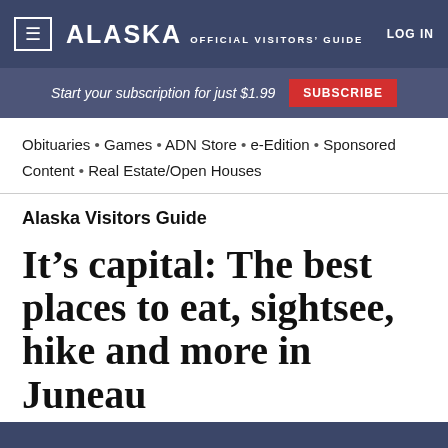≡ ALASKA OFFICIAL VISITORS' GUIDE LOG IN
Start your subscription for just $1.99  SUBSCRIBE
Obituaries • Games • ADN Store • e-Edition • Sponsored Content • Real Estate/Open Houses
Alaska Visitors Guide
It's capital: The best places to eat, sightsee, hike and more in Juneau